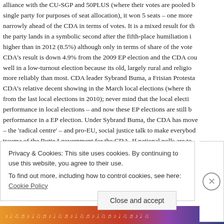alliance with the CU-SGP and 50PLUS (where their votes are pooled as a single party for purposes of seat allocation), it won 5 seats – one more narrowly ahead of the CDA in terms of votes. It is a mixed result for the party lands in a symbolic second after the fifth-place humiliation higher than in 2012 (8.5%) although only in terms of share of the vote. CDA's result is down 4.9% from the 2009 EP election and the CDA could well in a low-turnout election because its old, largely rural and religious more reliably than most. CDA leader Sybrand Buma, a Frisian Protestant CDA's relative decent showing in the March local elections (where the from the last local elections in 2010); never mind that the local election performance in local elections – and now these EP elections are still the performance in a EP election. Under Sybrand Buma, the CDA has moved – the 'radical centre' – and pro-EU, social justice talk to make everybody trauma of the Rutte I government for the CDA. If national polls are to
Privacy & Cookies: This site uses cookies. By continuing to use this website, you agree to their use.
To find out more, including how to control cookies, see here: Cookie Policy
Close and accept